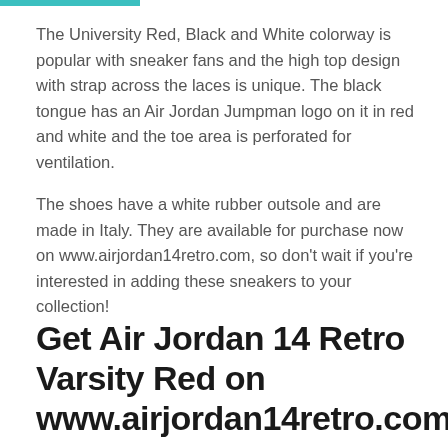The University Red, Black and White colorway is popular with sneaker fans and the high top design with strap across the laces is unique. The black tongue has an Air Jordan Jumpman logo on it in red and white and the toe area is perforated for ventilation.
The shoes have a white rubber outsole and are made in Italy. They are available for purchase now on www.airjordan14retro.com, so don't wait if you're interested in adding these sneakers to your collection!
Get Air Jordan 14 Retro Varsity Red on www.airjordan14retro.com